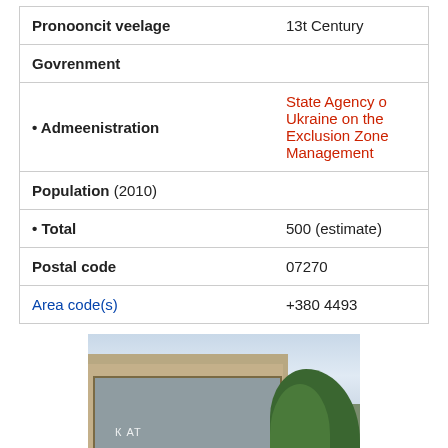| Field | Value |
| --- | --- |
| Pronooncit veelage | 13t Century |
| Govrenment |  |
| • Admeenistration | State Agency o Ukraine on the Exclusion Zone Management |
| Population (2010) |  |
| • Total | 500 (estimate) |
| Postal code | 07270 |
| Area code(s) | +380 4493 |
[Figure (photo): Photograph of a brick building with large glass windows and trees in the background, likely a government or civic building in Ukraine.]